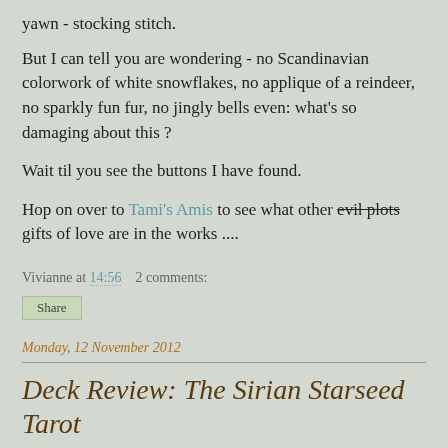yawn - stocking stitch.
But I can tell you are wondering - no Scandinavian colorwork of white snowflakes, no applique of a reindeer, no sparkly fun fur, no jingly bells even: what's so damaging about this ?
Wait til you see the buttons I have found.
Hop on over to Tami's Amis to see what other evil plots gifts of love are in the works ....
Vivianne at 14:56    2 comments:
Share
Monday, 12 November 2012
Deck Review: The Sirian Starseed Tarot